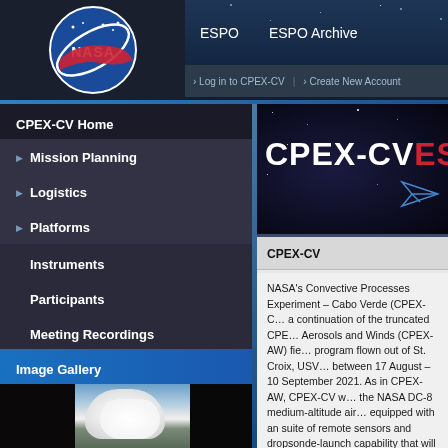NASA ESPO | ESPO Archive | Log in to CPEX-CV | Create New Account
[Figure (logo): NASA circular logo with blue sphere, red swoosh, and white NASA text]
CPEX-CV Home
Mission Planning
Logistics
Platforms
Instruments
Participants
Meeting Recordings
Image Gallery
[Figure (screenshot): CPEX-CV mission banner with white and red text on dark star background with paper airplane icon]
CPEX-CV
NASA's Convective Processes Experiment – Cabo Verde (CPEX-C… a continuation of the truncated CPE… Aerosols and Winds (CPEX-AW) fie… program flown out of St. Croix, USV… between 17 August – 10 September 2021. As in CPEX-AW, CPEX-CV w… the NASA DC-8 medium-altitude air… equipped with an suite of remote sensors and dropsonde-launch capability that will allow for the …